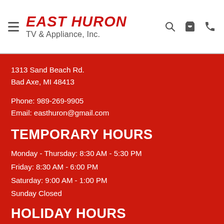EAST HURON TV & Appliance, Inc.
1313 Sand Beach Rd.
Bad Axe, MI 48413
Phone: 989-269-9905
Email: easthuron@gmail.com
TEMPORARY HOURS
Monday - Thursday: 8:30 AM - 5:30 PM
Friday: 8:30 AM - 6:00 PM
Saturday: 9:00 AM - 1:00 PM
Sunday Closed
HOLIDAY HOURS